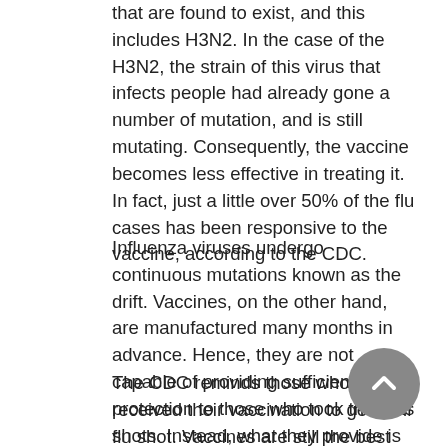that are found to exist, and this includes H3N2. In the case of the H3N2, the strain of this virus that infects people had already gone a number of mutation, and is still mutating. Consequently, the vaccine becomes less effective in treating it. In fact, just a little over 50% of the flu cases has been responsive to the vaccine, according to the CDC.
Influenza viruses undergo continuous mutations known as the drift. Vaccines, on the other hand, are manufactured many months in advance. Hence, they are not capable of providing sufficient protection to those who took them as shots. Instead, what they provide is what's known as cross protection.
The CDC reminds those who haven't received their vaccination to get their flu shot. Vaccines are still the best way of protecting the body against any infection of the flu virus. Although the curing effect is reduced, cross protection is able to lessen the possibility of serious